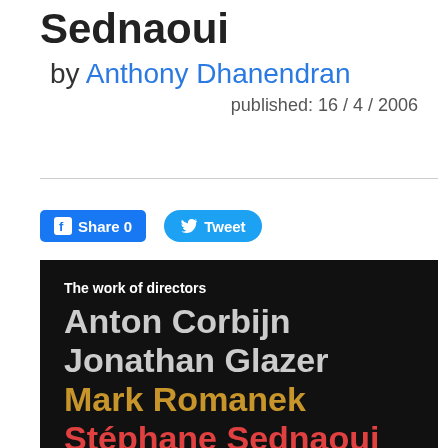Sednaoui
by Anthony Dhanendran
published: 16 / 4 / 2006
[Figure (other): Social share buttons: Facebook Share 0 and Twitter Tweet]
[Figure (photo): Book cover with black background showing text: 'The work of directors Anton Corbijn Jonathan Glazer Mark Romanek Stéphane Sednaoui'. Names displayed in large type, Corbijn and Glazer in grey, Romanek in gold/yellow, Sednaoui in red.]